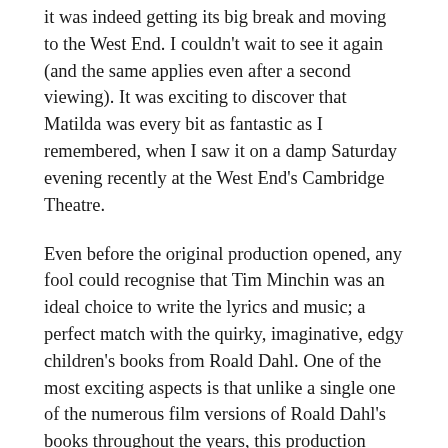it was indeed getting its big break and moving to the West End. I couldn't wait to see it again (and the same applies even after a second viewing). It was exciting to discover that Matilda was every bit as fantastic as I remembered, when I saw it on a damp Saturday evening recently at the West End's Cambridge Theatre.
Even before the original production opened, any fool could recognise that Tim Minchin was an ideal choice to write the lyrics and music; a perfect match with the quirky, imaginative, edgy children's books from Roald Dahl. One of the most exciting aspects is that unlike a single one of the numerous film versions of Roald Dahl's books throughout the years, this production absolutely and gloriously captures the spirit of Dahl's writing for children. We all know that his writing is notoriously inventive, funny, exciting